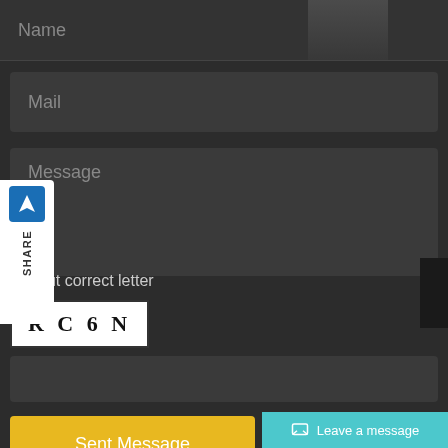Name
Mail
Message
put correct letter
[Figure (screenshot): CAPTCHA image showing text: RC 6 N in a white box]
Sent Message
Leave a message